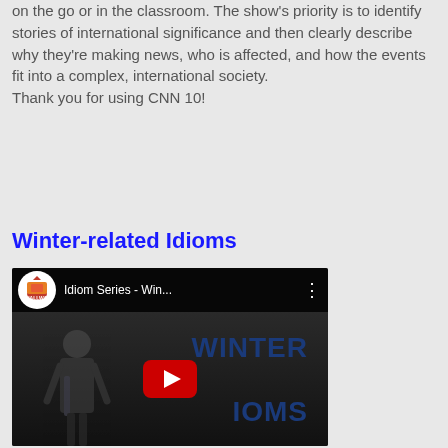on the go or in the classroom. The show's priority is to identify stories of international significance and then clearly describe why they're making news, who is affected, and how the events fit into a complex, international society. Thank you for using CNN 10!
[Figure (other): Share button — a blue rectangular button with white text reading 'Share']
Winter-related Idioms
[Figure (screenshot): YouTube video thumbnail for 'Idiom Series - Win...' showing a presenter in front of a board with 'WINTER IDIOMS' text. Channel icon visible in top-left with a colorful logo.]